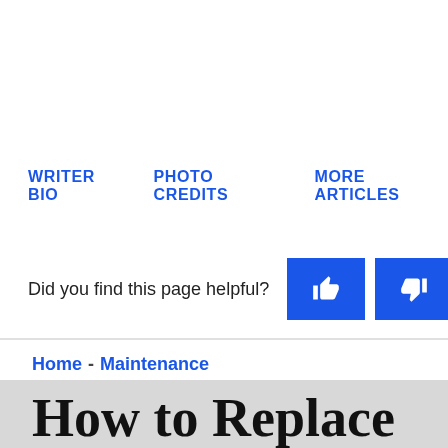WRITER BIO   PHOTO CREDITS   MORE ARTICLES
Did you find this page helpful?
Home - Maintenance
How to Replace Cobb Sidin...